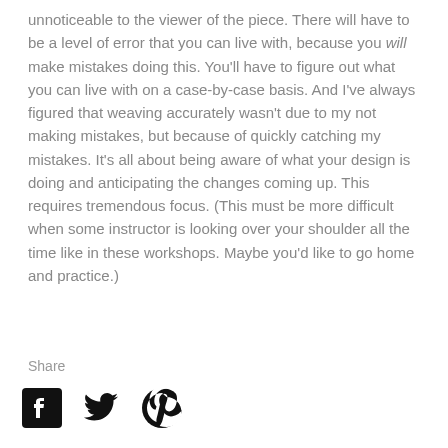unnoticeable to the viewer of the piece. There will have to be a level of error that you can live with, because you will make mistakes doing this. You'll have to figure out what you can live with on a case-by-case basis. And I've always figured that weaving accurately wasn't due to my not making mistakes, but because of quickly catching my mistakes. It's all about being aware of what your design is doing and anticipating the changes coming up. This requires tremendous focus. (This must be more difficult when some instructor is looking over your shoulder all the time like in these workshops. Maybe you'd like to go home and practice.)
Share
[Figure (other): Social media share icons: Facebook, Twitter, Pinterest]